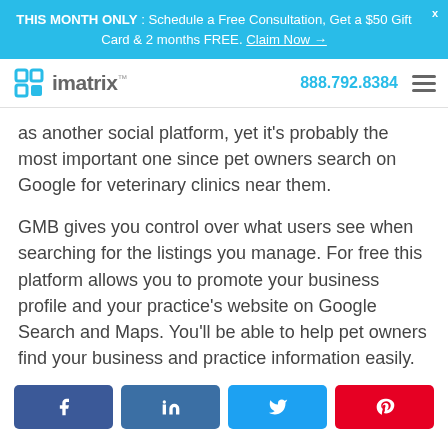THIS MONTH ONLY : Schedule a Free Consultation, Get a $50 Gift Card & 2 months FREE. Claim Now →
imatrix™  888.792.8384
as another social platform, yet it's probably the most important one since pet owners search on Google for veterinary clinics near them.
GMB gives you control over what users see when searching for the listings you manage. For free this platform allows you to promote your business profile and your practice's website on Google Search and Maps. You'll be able to help pet owners find your business and practice information easily.
[Figure (other): Social share buttons: Facebook, LinkedIn, Twitter, Pinterest]